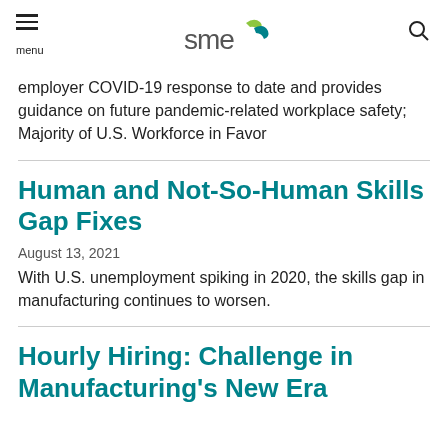SME | menu | search
employer COVID-19 response to date and provides guidance on future pandemic-related workplace safety; Majority of U.S. Workforce in Favor
Human and Not-So-Human Skills Gap Fixes
August 13, 2021
With U.S. unemployment spiking in 2020, the skills gap in manufacturing continues to worsen.
Hourly Hiring: Challenge in Manufacturing's New Era